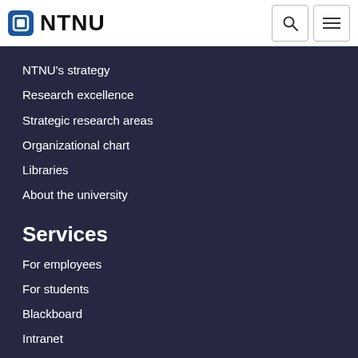NTNU
NTNU's strategy
Research excellence
Strategic research areas
Organizational chart
Libraries
About the university
Services
For employees
For students
Blackboard
Intranet
Norwegian University of Science and Technology
About cookies
Privacy policy
Editoral responsibility